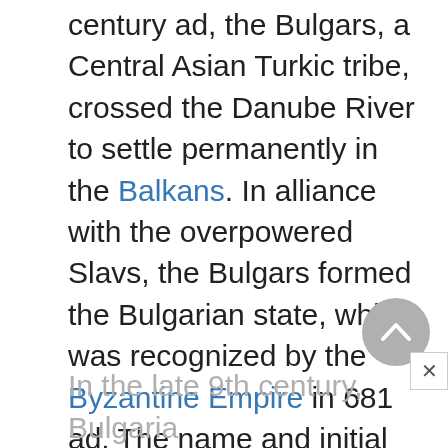century ad, the Bulgars, a Central Asian Turkic tribe, crossed the Danube River to settle permanently in the Balkans. In alliance with the overpowered Slavs, the Bulgars formed the Bulgarian state, which was recognized by the Byzantine Empire in 681 ad. The name and initial political framework of the new state were taken from the Bulgars, but the language and the culture remained predominantly Slavic.
In the late 9th century, Bulgaria